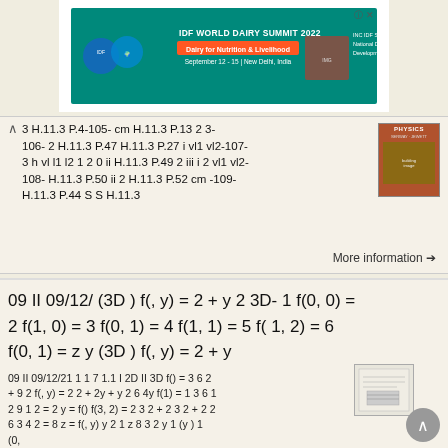[Figure (other): IDF World Dairy Summit 2022 advertisement banner with stamp-style border, teal background, logos, and text: 'IDF WORLD DAIRY SUMMIT 2022 Dairy for Nutrition & Livelihood September 12-15 | New Delhi, India'. Right side: 'INC IDF Secretariat National Dairy Development Board'.]
3 H.11.3 P.4-105- cm H.11.3 P.13 2 3- 106- 2 H.11.3 P.47 H.11.3 P.27 i vl1 vl2-107- 3 h vl l1 l2 1  2 0 ii H.11.3 P.49 2 iii i 2 vl1 vl2-108- H.11.3 P.50 ii 2 H.11.3 P.52 cm -109- H.11.3 P.44 S S H.11.3
More information →
09 II 09/12/21 1 1 7 1.1 I 2D II 3D f() = 3 6 2 + 9 2 f(, y) = 2 2 + 2y + y 2 6 4y f(1) = 1 3 6 1 2 9 1 2 = 2 y = f() f(3, 2) = 2 3 2 + 2 3 2 + 2 2 6 3 4 2 = 8 z = f(, y) y 2 1 z 8 3 2 y 1 (y ) 1 (0,